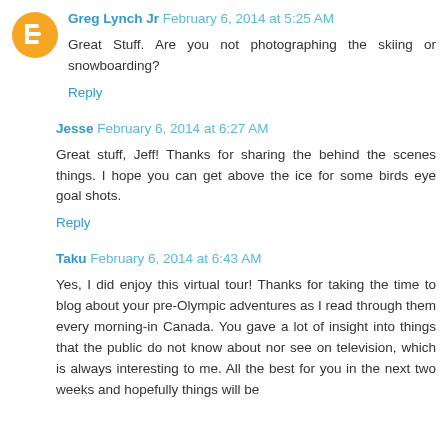Greg Lynch Jr February 6, 2014 at 5:25 AM
Great Stuff. Are you not photographing the skiing or snowboarding?
Reply
Jesse February 6, 2014 at 6:27 AM
Great stuff, Jeff! Thanks for sharing the behind the scenes things. I hope you can get above the ice for some birds eye goal shots.
Reply
Taku February 6, 2014 at 6:43 AM
Yes, I did enjoy this virtual tour! Thanks for taking the time to blog about your pre-Olympic adventures as I read through them every morning-in Canada. You gave a lot of insight into things that the public do not know about nor see on television, which is always interesting to me. All the best for you in the next two weeks and hopefully things will be